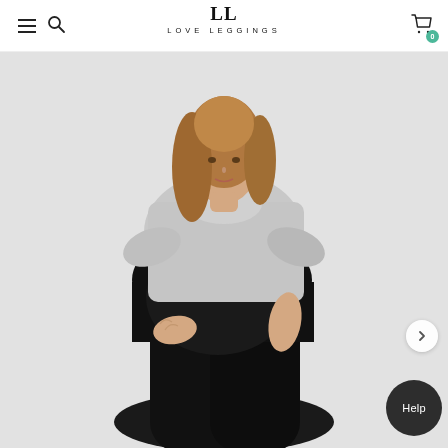Love Leggings — navigation header with menu, search, logo, and cart (0 items)
[Figure (photo): A pregnant woman wearing black maternity leggings with a high over-bump waistband and a light grey cropped top, posing against a light grey background. She has long blonde-brown hair. The Love Leggings product photo shows the full-length view of the maternity leggings from waist down, with the model resting one hand on her baby bump.]